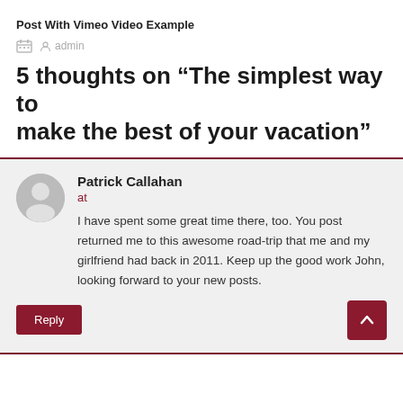Post With Vimeo Video Example
admin
5 thoughts on “The simplest way to make the best of your vacation”
Patrick Callahan
at
I have spent some great time there, too. You post returned me to this awesome road-trip that me and my girlfriend had back in 2011. Keep up the good work John, looking forward to your new posts.